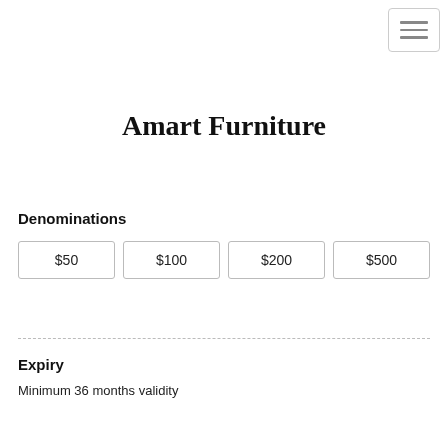[Figure (other): Hamburger menu button icon in top right corner]
Amart Furniture
Denominations
| $50 | $100 | $200 | $500 |
Expiry
Minimum 36 months validity